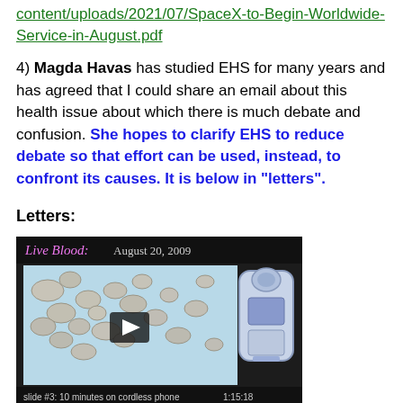content/uploads/2021/07/SpaceX-to-Begin-Worldwide-Service-in-August.pdf
4) Magda Havas has studied EHS for many years and has agreed that I could share an email about this health issue about which there is much debate and confusion. She hopes to clarify EHS to reduce debate so that effort can be used, instead, to confront its causes. It is below in “letters”.
Letters:
[Figure (screenshot): Video thumbnail showing 'Live Blood: August 20, 2009' with microscope imagery of blood cells and an illustrated cordless phone. Shows slide #3: 10 minutes on cordless phone, timestamp 1:15:18, play button visible.]